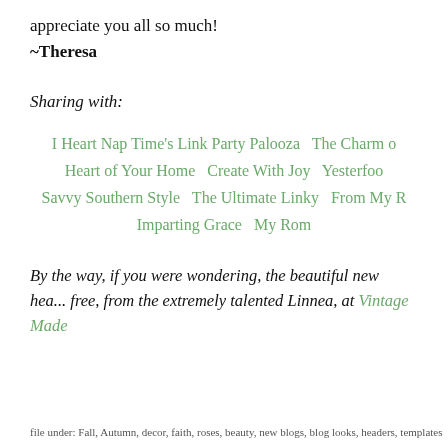appreciate you all so much!
~Theresa
Sharing with:
I Heart Nap Time's Link Party Palooza  The Charm o...  Heart of Your Home  Create With Joy  Yesterfoo...  Savvy Southern Style  The Ultimate Linky  From My R...  Imparting Grace  My Rom...
By the way, if you were wondering, the beautiful new hea... free, from the extremely talented Linnea, at Vintage Made
file under: Fall, Autumn, decor, faith, roses, beauty, new blogs, blog looks, headers, templates